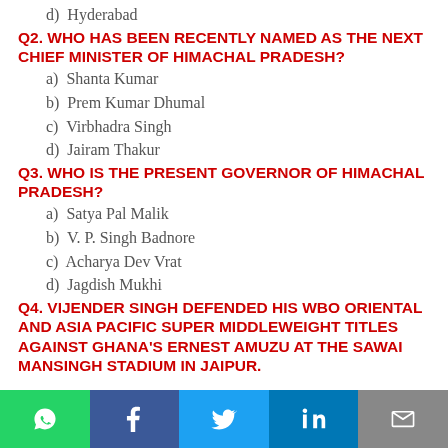d)  Hyderabad
Q2. WHO HAS BEEN RECENTLY NAMED AS THE NEXT CHIEF MINISTER OF HIMACHAL PRADESH?
a)  Shanta Kumar
b)  Prem Kumar Dhumal
c)  Virbhadra Singh
d)  Jairam Thakur
Q3. WHO IS THE PRESENT GOVERNOR OF HIMACHAL PRADESH?
a)  Satya Pal Malik
b)  V. P. Singh Badnore
c)  Acharya Dev Vrat
d)  Jagdish Mukhi
Q4. VIJENDER SINGH DEFENDED HIS WBO ORIENTAL AND ASIA PACIFIC SUPER MIDDLEWEIGHT TITLES AGAINST GHANA'S ERNEST AMUZU AT THE SAWAI MANSINGH STADIUM IN JAIPUR.
WhatsApp | Facebook | Twitter | LinkedIn | Email